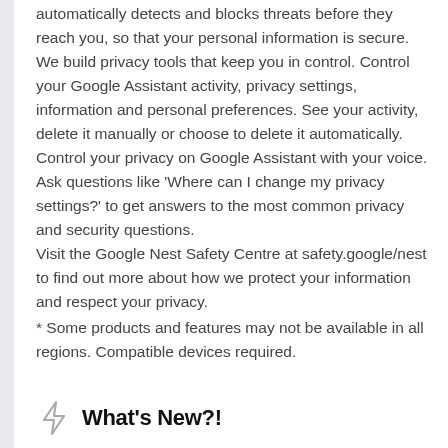automatically detects and blocks threats before they reach you, so that your personal information is secure. We build privacy tools that keep you in control. Control your Google Assistant activity, privacy settings, information and personal preferences. See your activity, delete it manually or choose to delete it automatically. Control your privacy on Google Assistant with your voice. Ask questions like 'Where can I change my privacy settings?' to get answers to the most common privacy and security questions. Visit the Google Nest Safety Centre at safety.google/nest to find out more about how we protect your information and respect your privacy.
* Some products and features may not be available in all regions. Compatible devices required.
What's New?!